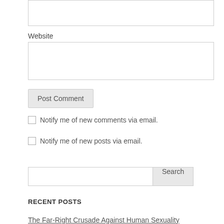Website
Post Comment
Notify me of new comments via email.
Notify me of new posts via email.
Search
RECENT POSTS
The Far-Right Crusade Against Human Sexuality
August